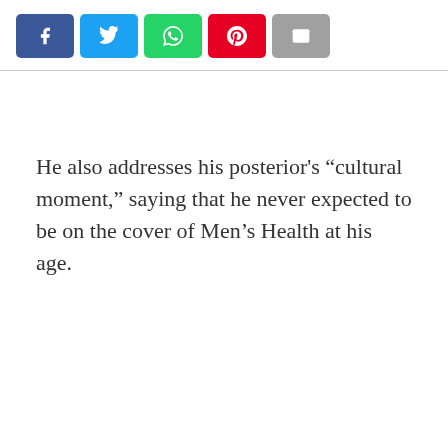[Figure (other): Social media share buttons: Facebook (blue), Twitter (light blue), WhatsApp (green), Pinterest (red), Email (gray)]
He also addresses his posterior’s “cultural moment,” saying that he never expected to be on the cover of Men’s Health at his age.